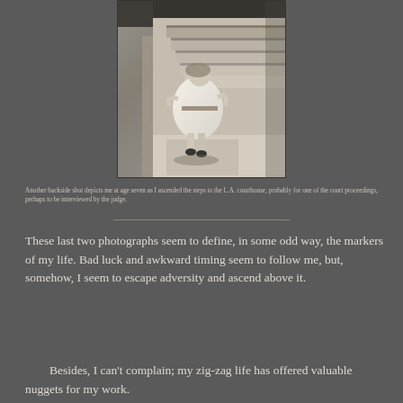[Figure (photo): Black and white photograph of a young child (age seven) seen from behind, wearing a white dress, ascending steps to the L.A. courthouse. Stairs and a column are visible.]
Another backside shot depicts me at age seven as I ascended the steps to the L.A. courthouse, probably for one of the court proceedings, perhaps to be interviewed by the judge.
These last two photographs seem to define, in some odd way, the markers of my life. Bad luck and awkward timing seem to follow me, but, somehow, I seem to escape adversity and ascend above it.
Besides, I can't complain; my zig-zag life has offered valuable nuggets for my work.